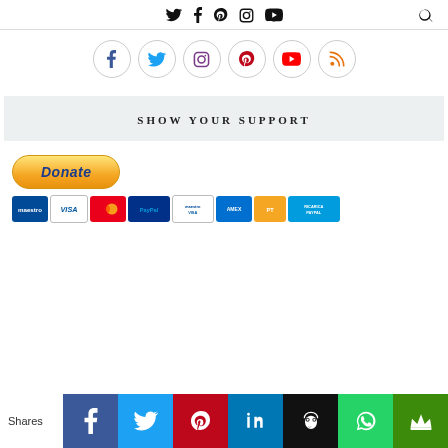Twitter, Facebook, Pinterest, Instagram, YouTube, Search icons
[Figure (infographic): Social media icon circles: Facebook (blue), Twitter (blue), Instagram (purple/gradient), Pinterest (red), YouTube (red), RSS (orange) — each inside a light circular border]
SHOW YOUR SUPPORT
[Figure (infographic): PayPal Donate button with payment logos: Maestro, VISA, MasterCard, PayPal, Maestro/Visa, American Express, Postamat, RICARICA PAYPAL]
[Figure (infographic): Bottom share bar with Shares label and colored icon buttons: Facebook (blue), Twitter (cyan), Pinterest (red), LinkedIn (blue), Buffer/Owl (black), WhatsApp (green), Crown (dark green)]